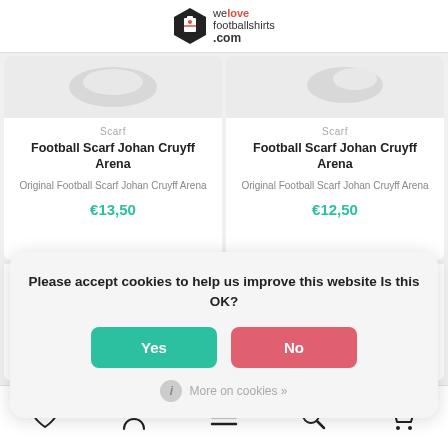[Figure (logo): We Love Football Shirts .com logo with hexagon icon]
Scarf
Football Scarf Johan Cruyff Arena
Original Football Scarf Johan Cruyff Arena
€13,50
Scarf
Football Scarf Johan Cruyff Arena
Original Football Scarf Johan Cruyff Arena
€12,50
Please accept cookies to help us improve this website Is this OK?
Yes
No
More on cookies »